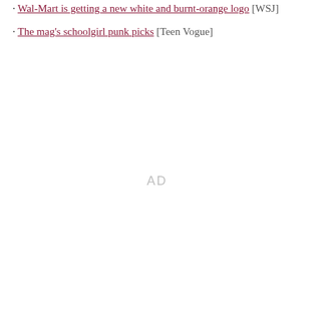Wal-Mart is getting a new white and burnt-orange logo [WSJ]
The mag's schoolgirl punk picks [Teen Vogue]
AD